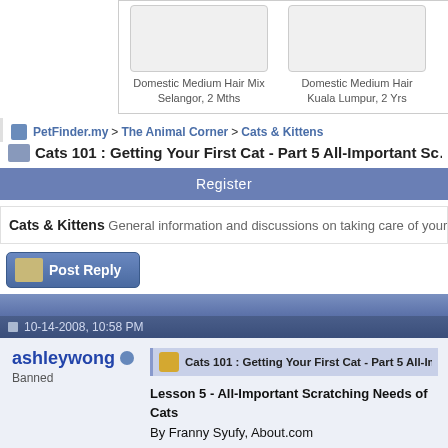[Figure (screenshot): Top portion showing two pet listing cards with placeholder images. First card: 'Domestic Medium Hair Mix, Selangor, 2 Mths'. Second card: 'Domestic Medium Hair, Kuala Lumpur, 2 Yrs'.]
PetFinder.my > The Animal Corner > Cats & Kittens
Cats 101 : Getting Your First Cat - Part 5 All-Important Sc...
Register
Cats & Kittens General information and discussions on taking care of your f...
[Figure (screenshot): Post Reply button with pencil/paper icon]
10-14-2008, 10:58 PM
ashleywong
Banned
Cats 101 : Getting Your First Cat - Part 5 All-Important Scratching Need...
Lesson 5 - All-Important Scratching Needs of Cats
By Franny Syufy, About.com

Next to litter box avoidance, undesirable scratching behavior is the...